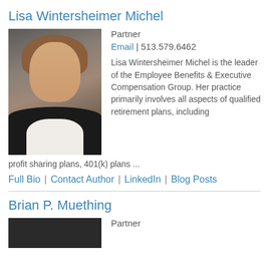Lisa Wintersheimer Michel
[Figure (photo): Professional headshot of Lisa Wintersheimer Michel, a woman with reddish-brown hair wearing a black blazer and pearl necklace, against a dark background]
Partner
Email | 513.579.6462
Lisa Wintersheimer Michel is the leader of the Employee Benefits & Executive Compensation Group. Her practice primarily involves all aspects of qualified retirement plans, including profit sharing plans, 401(k) plans ...
Full Bio | Contact Author | LinkedIn | Blog Posts
Brian P. Muething
[Figure (photo): Partial headshot of Brian P. Muething, dark background visible]
Partner